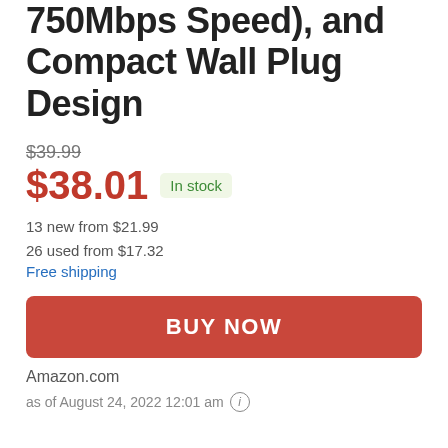750Mbps Speed), and Compact Wall Plug Design
$39.99
$38.01  In stock
13 new from $21.99
26 used from $17.32
Free shipping
BUY NOW
Amazon.com
as of August 24, 2022 12:01 am ⓘ